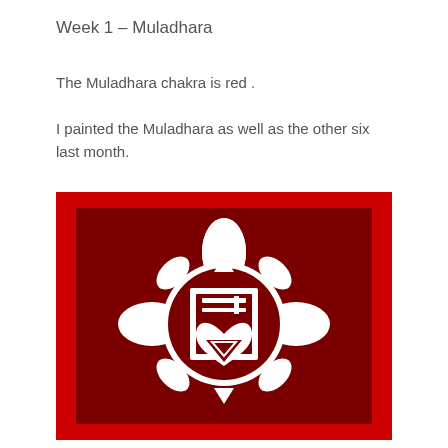Week 1 – Muladhara
The Muladhara chakra is red .
I painted the Muladhara as well as the other six last month.
[Figure (photo): A painting of the Muladhara chakra symbol — a white lotus flower with four petals and a central square containing Sanskrit-like symbols and a heart with a downward triangle, all on a dark red background framed by a bright red border.]